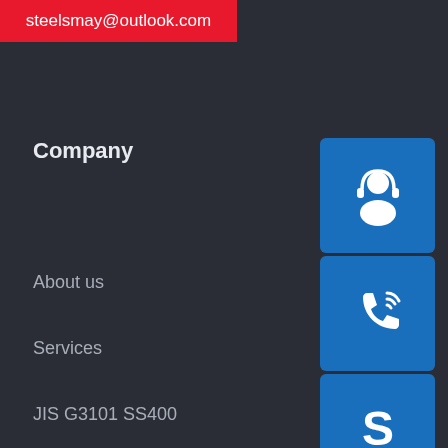steelsmay@outlook.com
Company
About us
Services
JIS G3101 SS400
JIS G3101 SM570
DIN 17100 St37-2
DIN 17102 StE255
Application
Alloy Steel Plate
[Figure (illustration): Customer support / headset icon in blue square]
[Figure (illustration): Phone / call icon in blue square]
[Figure (illustration): Skype icon in blue square]